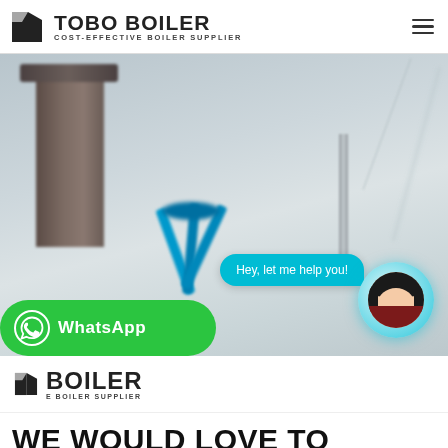TOBO BOILER — COST-EFFECTIVE BOILER SUPPLIER
[Figure (photo): Blurry industrial boiler/chimney with blue structural supports in background. Chat bubble overlay saying 'Hey, let me help you!' with a female avatar in a cyan circle on the right.]
[Figure (logo): WhatsApp button (green rounded rectangle with WhatsApp icon and text 'WhatsApp') overlaid on bottom-left of hero image.]
[Figure (logo): TOBO BOILER logo text with subtitle 'COST-EFFECTIVE BOILER SUPPLIER' in bottom section.]
WE WOULD LOVE TO